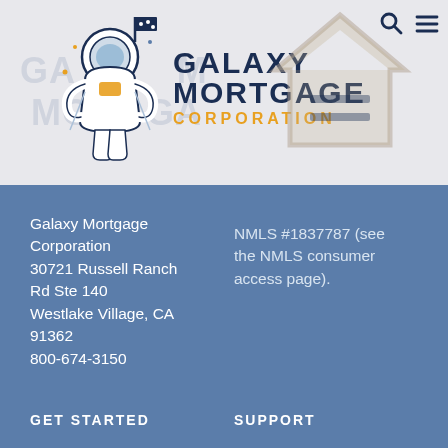[Figure (logo): Galaxy Mortgage Corporation logo with astronaut figure and equal housing opportunity icon in header]
Galaxy Mortgage Corporation
30721 Russell Ranch Rd Ste 140
Westlake Village, CA 91362
800-674-3150
NMLS #1837787 (see the NMLS consumer access page).
GET STARTED
SUPPORT